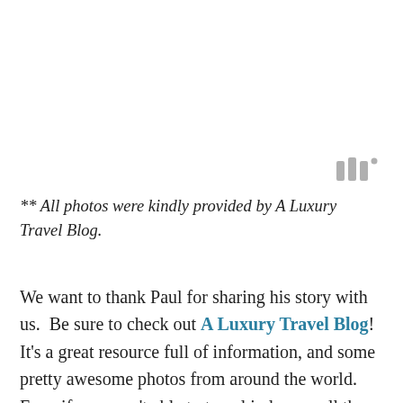[Figure (other): Small gray watermark/logo icon in upper right area — three short vertical bars with a small circle, resembling a signal or brand mark]
** All photos were kindly provided by A Luxury Travel Blog.
We want to thank Paul for sharing his story with us.  Be sure to check out A Luxury Travel Blog!  It's a great resource full of information, and some pretty awesome photos from around the world.  Even if you aren't able to travel in luxury all the time, you will